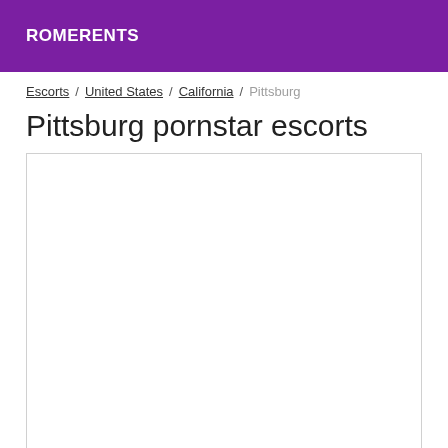ROMERENTS
Escorts / United States / California / Pittsburg
Pittsburg pornstar escorts
[Figure (other): Empty white listing box with border]